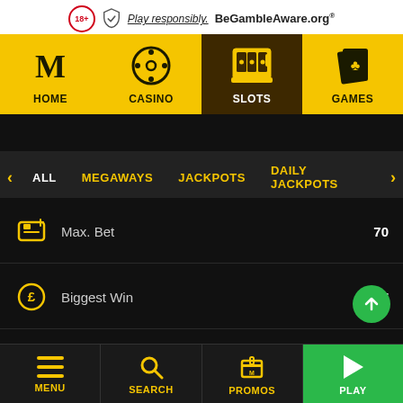[Figure (screenshot): Top responsible gambling bar with 18+ badge, shield icon, 'Play responsibly.' text and BeGambleAware.org logo]
[Figure (screenshot): Navigation bar with HOME, CASINO, SLOTS (active/dark), GAMES tabs with icons on yellow background]
[Figure (screenshot): Filter tabs: ALL (active white), MEGAWAYS, JACKPOTS, DAILY JACKPOTS with left/right arrows on dark background]
Max. Bet    70
Biggest Win    £427
Produced by    Gamomat
[Figure (screenshot): Bottom navigation bar with MENU, SEARCH, PROMOS (yellow icons) and PLAY button (green background)]